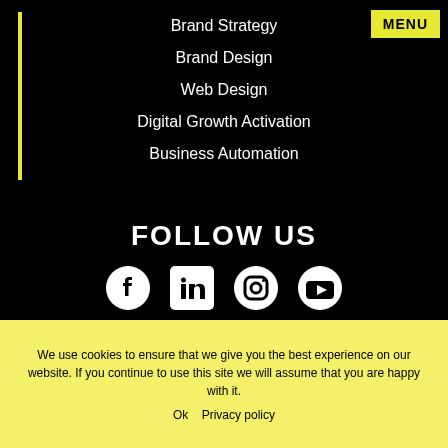Brand Strategy
Brand Design
Web Design
Digital Growth Activation
Business Automation
FOLLOW US
[Figure (illustration): Social media icons: Facebook, LinkedIn, Instagram, YouTube]
We use cookies to ensure that we give you the best experience on our website. If you continue to use this site we will assume that you are happy with it.
Ok   Privacy policy